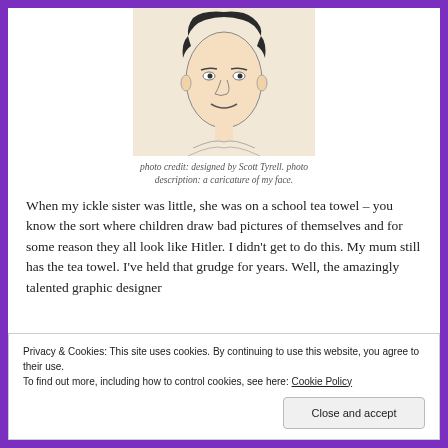[Figure (illustration): A caricature illustration of a person's face drawn in black ink on a beige/cream background, showing head and upper shoulders.]
photo credit: designed by Scott Tyrell. photo description: a caricature of my face.
When my ickle sister was little, she was on a school tea towel – you know the sort where children draw bad pictures of themselves and for some reason they all look like Hitler. I didn't get to do this. My mum still has the tea towel. I've held that grudge for years. Well, the amazingly talented graphic designer
Privacy & Cookies: This site uses cookies. By continuing to use this website, you agree to their use.
To find out more, including how to control cookies, see here: Cookie Policy